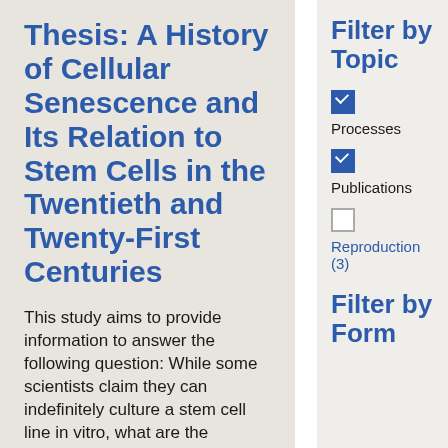Thesis: A History of Cellular Senescence and Its Relation to Stem Cells in the Twentieth and Twenty-First Centuries
This study aims to provide information to answer the following question: While some scientists claim they can indefinitely culture a stem cell line in vitro, what are the consequences of
Filter by Topic
Processes (checked)
Publications (checked)
Reproduction (3) (unchecked)
Filter by Form